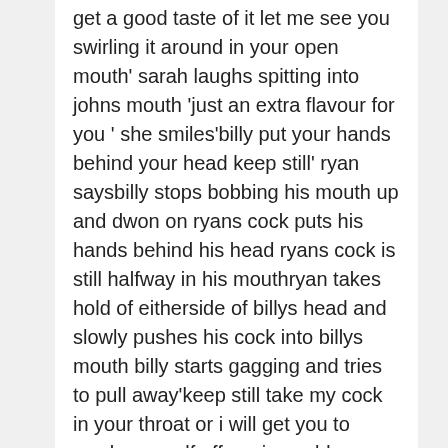get a good taste of it let me see you swirling it around in your open mouth' sarah laughs spitting into johns mouth 'just an extra flavour for you ' she smiles'billy put your hands behind your head keep still' ryan saysbilly stops bobbing his mouth up and dwon on ryans cock puts his hands behind his head ryans cock is still halfway in his mouthryan takes hold of eitherside of billys head and slowly pushes his cock into billys mouth billy starts gagging and tries to pull away'keep still take my cock in your throat or i will get you to wank yourself off again could your cock take it ?' ryan says pushing his cock deeper into billys mouth his cock head pushing against the top of billys throat 'you need to swallow when you feel his cock at the back of your throat its much easier for him to get his cock in' sarah says 'i do love a